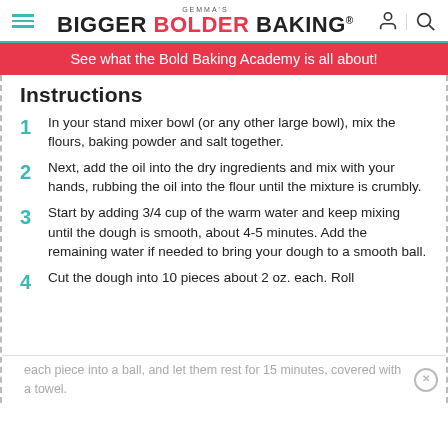GEMMA'S BIGGER BOLDER BAKING®
See what the Bold Baking Academy is all about!
Instructions
1 In your stand mixer bowl (or any other large bowl), mix the flours, baking powder and salt together.
2 Next, add the oil into the dry ingredients and mix with your hands, rubbing the oil into the flour until the mixture is crumbly.
3 Start by adding 3/4 cup of the warm water and keep mixing until the dough is smooth, about 4-5 minutes. Add the remaining water if needed to bring your dough to a smooth ball.
4 Cut the dough into 10 pieces about 2 oz. each. Roll each piece into a ball, and let them rest for 15 minutes, covered with a towel.